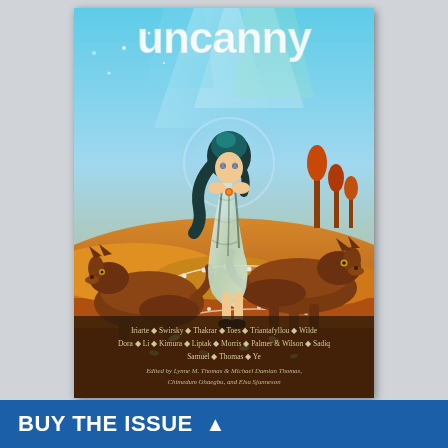[Figure (illustration): Book cover for 'Uncanny' magazine/anthology. Features an illustrated scene of a girl with dark hair in a flowing white dress surrounded by two wolves, set against a golden desert landscape with a teal sky and colorful light rays. The title 'uncanny' appears in large white letters at the top. Author names listed: Iriarte, Swirsky, Thakrar, Toes, Triantafyllou, Wilde, Dora, Li, Kimura, Liptak, Morris, Palmer & Wilson, Sadiq, Samuel, Thomas, Ye. Edited by Lynne M. Thomas & Michael Damian Thomas, Chimedum Ohaegbu, and Elsa Sjunneson.]
BUY THE ISSUE ▲